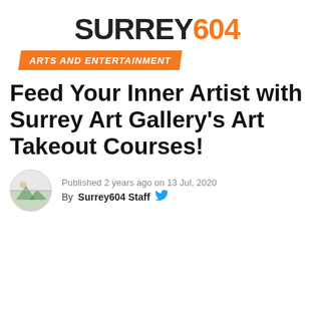SURREY604
ARTS AND ENTERTAINMENT
Feed Your Inner Artist with Surrey Art Gallery's Art Takeout Courses!
Published 2 years ago on 13 Jul, 2020
By Surrey604 Staff